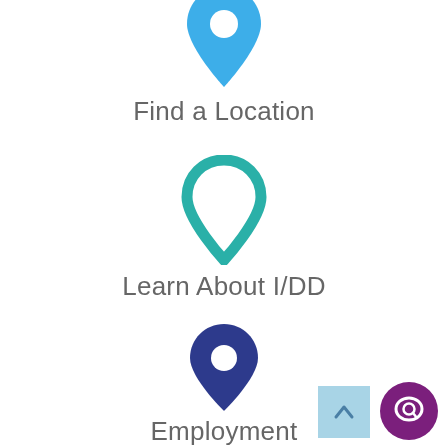[Figure (illustration): Blue location pin icon (filled solid blue) for Find a Location section]
Find a Location
[Figure (illustration): Teal/green outline location pin icon for Learn About I/DD section]
Learn About I/DD
[Figure (illustration): Dark navy blue location pin icon (filled) for Employment section]
Employment
[Figure (illustration): Light blue back-to-top button with upward chevron arrow]
[Figure (illustration): Purple circular chat/speech bubble button]